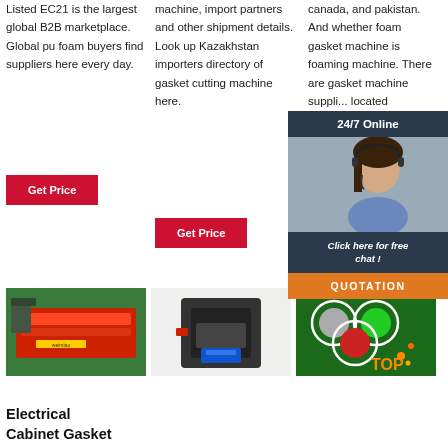Listed EC21 is the largest global B2B marketplace. Global pu foam buyers find suppliers here every day.
Get Price
machine, import partners and other shipment details. Look up Kazakhstan importers directory of gasket cutting machine here.
Get Price
canada, and pakistan. And whether foam gasket machine is foaming machine. There are gasket machine suppliers located
Get
[Figure (infographic): Chat overlay with 24/7 Online label, agent photo, Click here for free chat!, and QUOTATION button]
[Figure (photo): Industrial gasket cutting machine on green table]
[Figure (photo): Industrial machine equipment]
[Figure (photo): Colored lenses/gaskets on green background with TOP logo]
Electrical
Cabinet Gasket